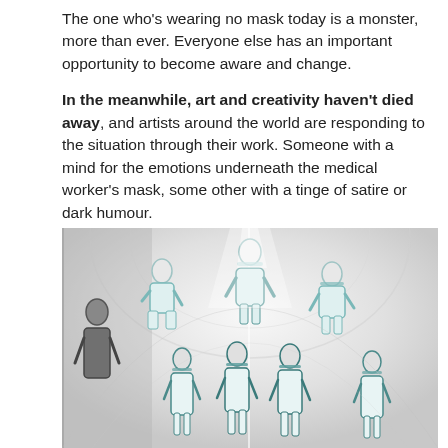The one who's wearing no mask today is a monster, more than ever. Everyone else has an important opportunity to become aware and change.
In the meanwhile, art and creativity haven't died away, and artists around the world are responding to the situation through their work. Someone with a mind for the emotions underneath the medical worker's mask, some other with a tinge of satire or dark humour.
[Figure (illustration): Artwork/painting depicting medical workers in white protective suits and face shields/masks, arranged in a curved panoramic composition resembling a dome or tunnel, with teal/blue accents on the protective equipment. The figures are in various poses, some sitting, some standing.]